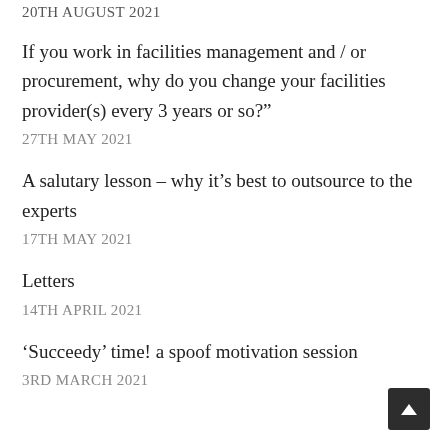20TH AUGUST 2021
If you work in facilities management and / or procurement, why do you change your facilities provider(s) every 3 years or so?”
27TH MAY 2021
A salutary lesson – why it’s best to outsource to the experts
17TH MAY 2021
Letters
14TH APRIL 2021
‘Succeedy’ time! a spoof motivation session
3RD MARCH 2021